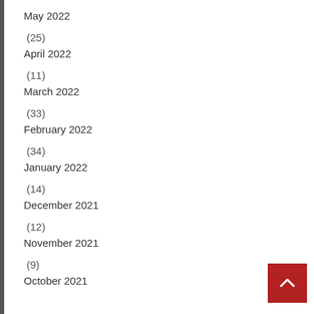May 2022
(25)
April 2022
(11)
March 2022
(33)
February 2022
(34)
January 2022
(14)
December 2021
(12)
November 2021
(9)
October 2021